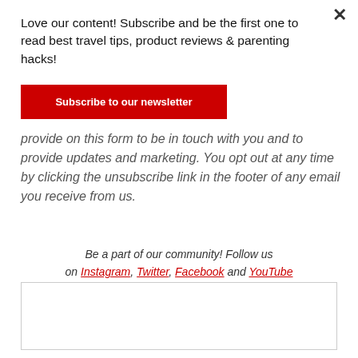×
Love our content! Subscribe and be the first one to read best travel tips, product reviews & parenting hacks!
Subscribe to our newsletter
provide on this form to be in touch with you and to provide updates and marketing. You opt out at any time by clicking the unsubscribe link in the footer of any email you receive from us.
Be a part of our community! Follow us on Instagram, Twitter, Facebook and YouTube
[Figure (other): Empty white box with border, likely an advertisement or image placeholder]